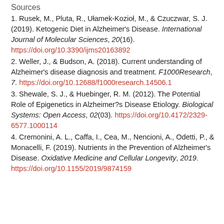Sources
1. Rusek, M., Pluta, R., Ułamek-Kozioł, M., & Czuczwar, S. J. (2019). Ketogenic Diet in Alzheimer's Disease. International Journal of Molecular Sciences, 20(16). https://doi.org/10.3390/ijms20163892
2. Weller, J., & Budson, A. (2018). Current understanding of Alzheimer's disease diagnosis and treatment. F1000Research, 7. https://doi.org/10.12688/f1000research.14506.1
3. Shewale, S. J., & Huebinger, R. M. (2012). The Potential Role of Epigenetics in Alzheimer?s Disease Etiology. Biological Systems: Open Access, 02(03). https://doi.org/10.4172/2329-6577.1000114
4. Cremonini, A. L., Caffa, I., Cea, M., Nencioni, A., Odetti, P., & Monacelli, F. (2019). Nutrients in the Prevention of Alzheimer's Disease. Oxidative Medicine and Cellular Longevity, 2019. https://doi.org/10.1155/2019/9874159